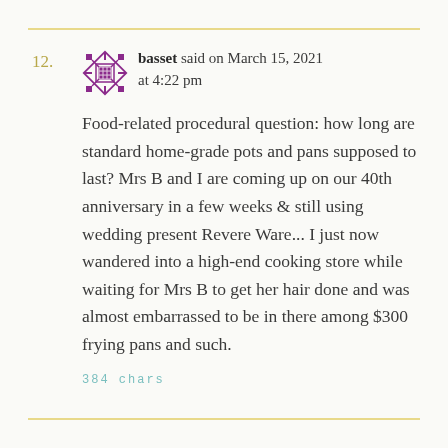12.
basset said on March 15, 2021 at 4:22 pm
Food-related procedural question: how long are standard home-grade pots and pans supposed to last? Mrs B and I are coming up on our 40th anniversary in a few weeks & still using wedding present Revere Ware... I just now wandered into a high-end cooking store while waiting for Mrs B to get her hair done and was almost embarrassed to be in there among $300 frying pans and such.
384 chars